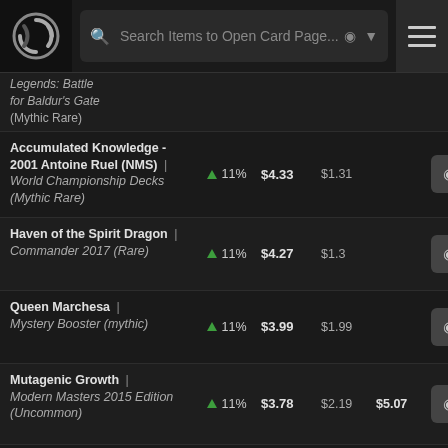Search Items to Open Card Page...
| Card Name / Set | Change | Price | Low | Foil | Action |
| --- | --- | --- | --- | --- | --- |
| Accumulated Knowledge - 2001 Antoine Ruel (NMS) | World Championship Decks (Mythic Rare) | ▲ 11% | $4.33 | $1.31 |  | Add to Wat |
| Haven of the Spirit Dragon | Commander 2017 (Rare) | ▲ 11% | $4.27 | $1.3 |  | Add to Wat |
| Queen Marchesa | Mystery Booster (mythic) | ▲ 11% | $3.99 | $1.99 |  | Add to Wat |
| Mutagenic Growth | Modern Masters 2015 Edition (Uncommon) | ▲ 11% | $3.78 | $2.19 | $5.07 | Add to Wat |
| Ley Druid (CE) | Collector's Edition (Uncommon) | ▲ 11% | $3.75 | $2.25 |  | Add to Wat |
| Brainstealer Dragon (Extended Art) | Commander | ▲ 11% | $3.74 | $2.5 |  | Add to Wat |